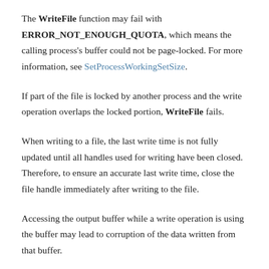The WriteFile function may fail with ERROR_NOT_ENOUGH_QUOTA, which means the calling process's buffer could not be page-locked. For more information, see SetProcessWorkingSetSize.
If part of the file is locked by another process and the write operation overlaps the locked portion, WriteFile fails.
When writing to a file, the last write time is not fully updated until all handles used for writing have been closed. Therefore, to ensure an accurate last write time, close the file handle immediately after writing to the file.
Accessing the output buffer while a write operation is using the buffer may lead to corruption of the data written from that buffer.